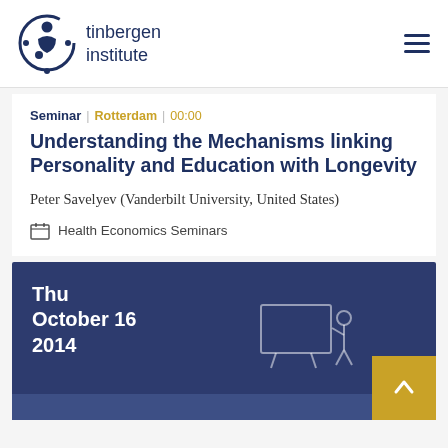tinbergen institute
Seminar | Rotterdam | 00:00
Understanding the Mechanisms linking Personality and Education with Longevity
Peter Savelyev (Vanderbilt University, United States)
Health Economics Seminars
Thu October 16 2014